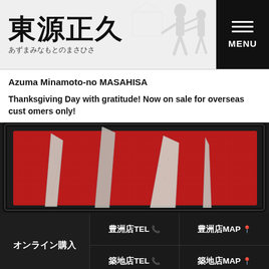東源正久
あずまみなもとのまさひさ
Azuma Minamoto-no MASAHISA
Thanksgiving Day with gratitude! Now on sale for overseas customers only!
[Figure (photo): Four Japanese knives (blades only) displayed on a red velvet surface inside a black lacquer box, showing intricate hammered Damascus-style patterns on the blades.]
豊洲店TEL
豊洲店MAP
オンライン購入
築地店TEL
築地店MAP